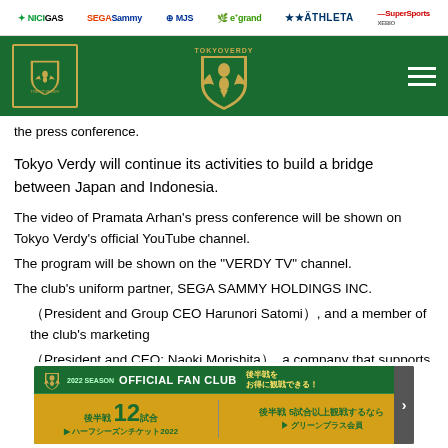NICIGAS | SegaSammy | MJS | e grand | ATHLETA | SuperSports
[Figure (logo): Tokyo Verdy navigation bar with club logo on left, central shield logo, and hamburger menu on right, green background]
the press conference.
Tokyo Verdy will continue its activities to build a bridge between Japan and Indonesia.
The video of Pramata Arhan's press conference will be shown on Tokyo Verdy's official YouTube channel.
The program will be shown on the "VERDY TV" channel.
The club's uniform partner, SEGA SAMMY HOLDINGS INC.
（President and Group CEO Harunori Satomi）, and a member of the club's marketing
（President and CEO: Naoki Morishita）, a company that supports our marketing initiatives, to provide a sports-giving service
The video will
[Figure (infographic): Tokyo Verdy 2022 Season Official Fan Club advertisement banner in green and gold, with Japanese text offering half-season ticket 2022 (12 matches) and Green Plus membership (5+ matches)]